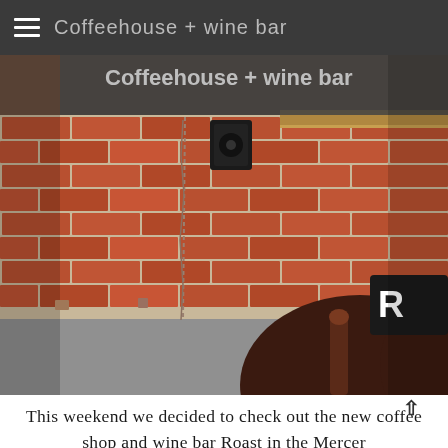≡  Coffeehouse + wine bar
[Figure (photo): Exterior brick wall of a coffeehouse and wine bar. Red brick with mortar joints, a black speaker mounted on the wall, a wooden beam/trim at the top right. In the lower right, a large dark wooden chair leg or furniture piece and a partial black awning with white letter 'R' visible. Gray concrete base at the bottom of the wall.]
This weekend we decided to check out the new coffee shop and wine bar Roast in the Mercer